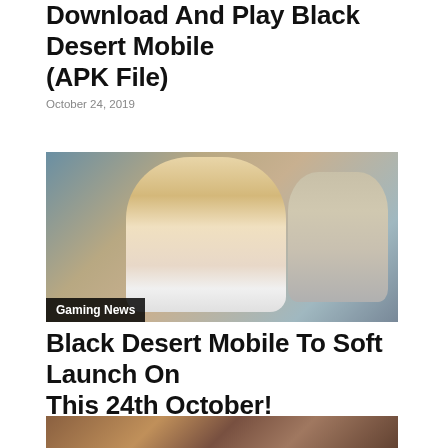Download And Play Black Desert Mobile (APK File)
October 24, 2019
[Figure (photo): Game screenshot showing female fantasy characters from Black Desert Mobile, with a label 'Gaming News' overlaid on the lower left]
Black Desert Mobile To Soft Launch On This 24th October!
October 18, 2019
[Figure (photo): Partial game screenshot from Black Desert Mobile showing a dark-themed character, partially visible at the bottom of the page]